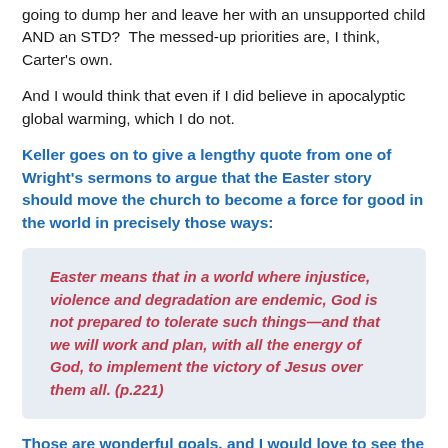going to dump her and leave her with an unsupported child AND an STD?  The messed-up priorities are, I think, Carter's own.
And I would think that even if I did believe in apocalyptic global warming, which I do not.
Keller goes on to give a lengthy quote from one of Wright's sermons to argue that the Easter story should move the church to become a force for good in the world in precisely those ways:
Easter means that in a world where injustice, violence and degradation are endemic, God is not prepared to tolerate such things—and that we will work and plan, with all the energy of God, to implement the victory of Jesus over them all. (p.221)
Those are wonderful goals, and I would love to see the church in America as a force for peace and good in the